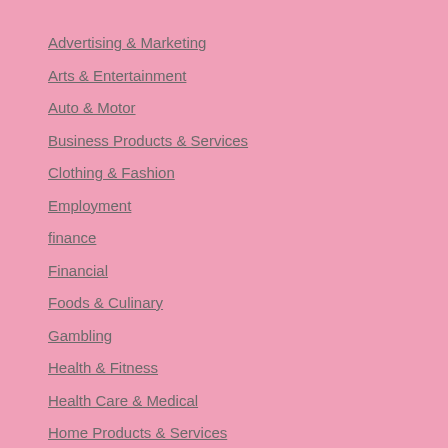Advertising & Marketing
Arts & Entertainment
Auto & Motor
Business Products & Services
Clothing & Fashion
Employment
finance
Financial
Foods & Culinary
Gambling
Health & Fitness
Health Care & Medical
Home Products & Services
Internet Services
Legal
Miscellaneous
Personal Product & Services
Pets & Animals